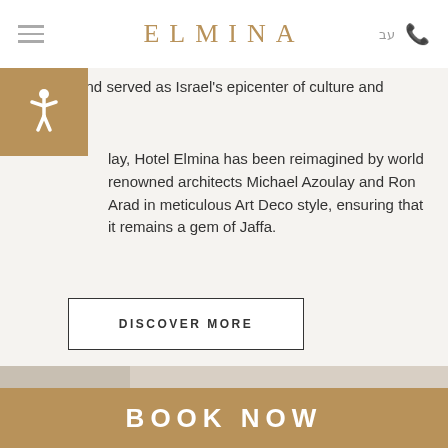ELMINA — Hotel website header with hamburger menu, language toggle (עב), and phone icon
groves and served as Israel's epicenter of culture and industry.
lay, Hotel Elmina has been reimagined by world renowned architects Michael Azoulay and Ron Arad in meticulous Art Deco style, ensuring that it remains a gem of Jaffa.
DISCOVER MORE
[Figure (photo): Close-up photograph of a champagne bottle in an ice bucket with white flowers, set against a softly blurred background.]
BOOK NOW